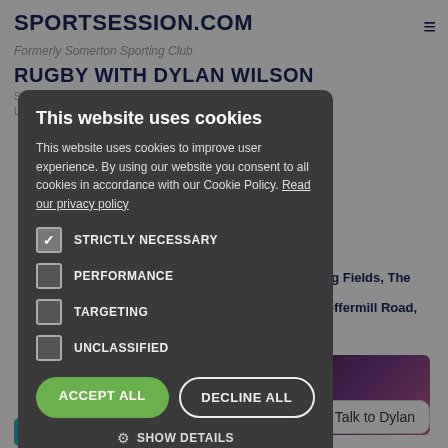SPORTSESSION.COM
Formerly Somerton Sporting Club
RUGBY WITH DYLAN WILSON
[Figure (screenshot): Website background showing sports session booking page, partially obscured by cookie consent modal overlay]
This website uses cookies
This website uses cookies to improve user experience. By using our website you consent to all cookies in accordance with our Cookie Policy. Read our privacy policy
STRICTLY NECESSARY (checked)
PERFORMANCE
TARGETING
UNCLASSIFIED
ACCEPT ALL
DECLINE ALL
SHOW DETAILS
POWERED BY COOKIESCRIPT